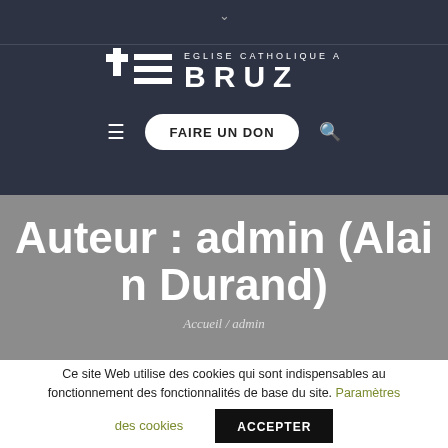[Figure (logo): Eglise Catholique a Bruz logo with cross and horizontal lines icon on dark background, with FAIRE UN DON button and navigation icons]
Auteur : admin (Alain Durand)
Accueil / admin
Ce site Web utilise des cookies qui sont indispensables au fonctionnement des fonctionnalités de base du site. Paramètres des cookies ACCEPTER